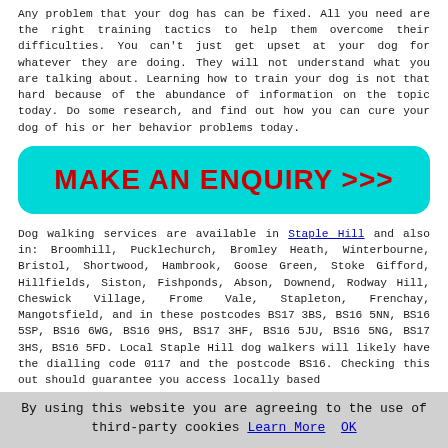Any problem that your dog has can be fixed. All you need are the right training tactics to help them overcome their difficulties. You can't just get upset at your dog for whatever they are doing. They will not understand what you are talking about. Learning how to train your dog is not that hard because of the abundance of information on the topic today. Do some research, and find out how you can cure your dog of his or her behavior problems today.
[Figure (other): A teal/cyan rounded rectangle button with bold red uppercase text reading 'MAKE AN ENQUIRY >>>']
Dog walking services are available in Staple Hill and also in: Broomhill, Pucklechurch, Bromley Heath, Winterbourne, Bristol, Shortwood, Hambrook, Goose Green, Stoke Gifford, Hillfields, Siston, Fishponds, Abson, Downend, Rodway Hill, Cheswick Village, Frome Vale, Stapleton, Frenchay, Mangotsfield, and in these postcodes BS17 3BS, BS16 5NN, BS16 5SP, BS16 6WG, BS16 9HS, BS17 3HF, BS16 5JU, BS16 5NG, BS17 3HS, BS16 5FD. Local Staple Hill dog walkers will likely have the dialling code 0117 and the postcode BS16. Checking this out should guarantee you access locally based
By using this website you are agreeing to the use of third-party cookies Learn More  OK